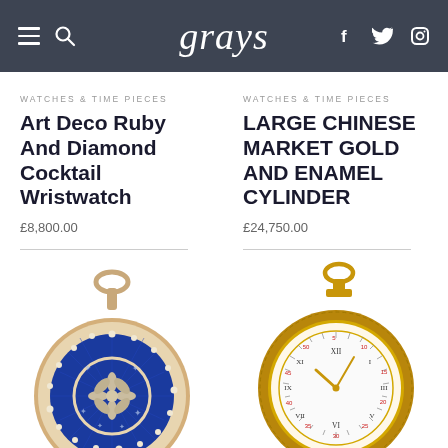grays
WATCHES & TIME PIECES
Art Deco Ruby And Diamond Cocktail Wristwatch
£8,800.00
WATCHES & TIME PIECES
LARGE CHINESE MARKET GOLD AND ENAMEL CYLINDER
£24,750.00
[Figure (photo): Blue enamel and pearl pocket watch with floral diamond motif, gold case with oval loop crown]
[Figure (photo): Gold pocket watch with white dial showing Roman and Arabic numerals, two gold hands, ornate case]